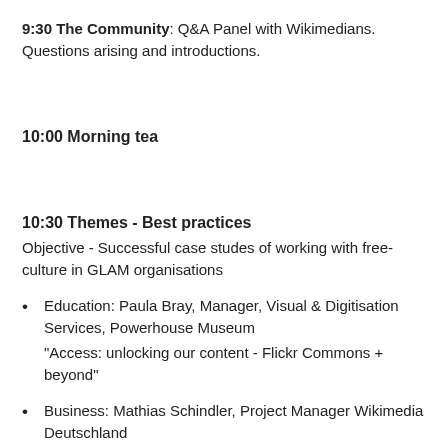9:30 The Community: Q&A Panel with Wikimedians. Questions arising and introductions.
10:00 Morning tea
10:30 Themes - Best practices
Objective - Successful case studes of working with free-culture in GLAM organisations
Education: Paula Bray, Manager, Visual & Digitisation Services, Powerhouse Museum
"Access: unlocking our content - Flickr Commons + beyond"
Business: Mathias Schindler, Project Manager Wikimedia Deutschland